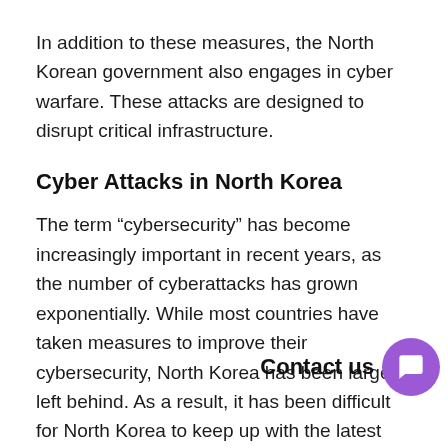In addition to these measures, the North Korean government also engages in cyber warfare. These attacks are designed to disrupt critical infrastructure.
Cyber Attacks in North Korea
The term “cybersecurity” has become increasingly important in recent years, as the number of cyberattacks has grown exponentially. While most countries have taken measures to improve their cybersecurity, North Korea has been largely left behind. As a result, it has been difficult for North Korea to keep up with the latest cybersecurity technologies and trends.
Despite its isolation, North Korea has managed to launch a number of successful cyber attacks in